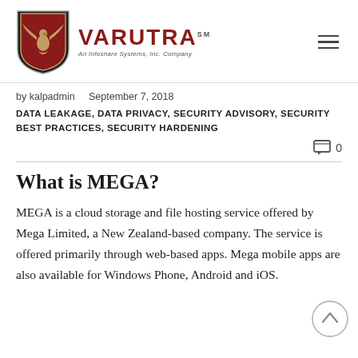[Figure (logo): Varutra logo: red shield with eagle and text VARUTRA with tagline 'An Infoshare Systems, Inc. Company']
by kalpadmin    September 7, 2018
DATA LEAKAGE, DATA PRIVACY, SECURITY ADVISORY, SECURITY BEST PRACTICES, SECURITY HARDENING
0 comments
What is MEGA?
MEGA is a cloud storage and file hosting service offered by Mega Limited, a New Zealand-based company. The service is offered primarily through web-based apps. Mega mobile apps are also available for Windows Phone, Android and iOS.